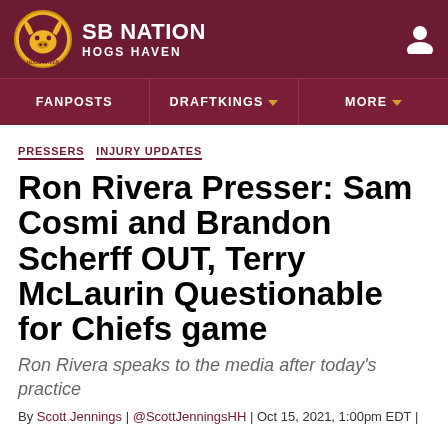SB NATION / HOGS HAVEN
FANPOSTS | DRAFTKINGS | MORE
PRESSERS INJURY UPDATES
Ron Rivera Presser: Sam Cosmi and Brandon Scherff OUT, Terry McLaurin Questionable for Chiefs game
Ron Rivera speaks to the media after today's practice
By Scott Jennings | @ScottJenningsHH | Oct 15, 2021, 1:00pm EDT |